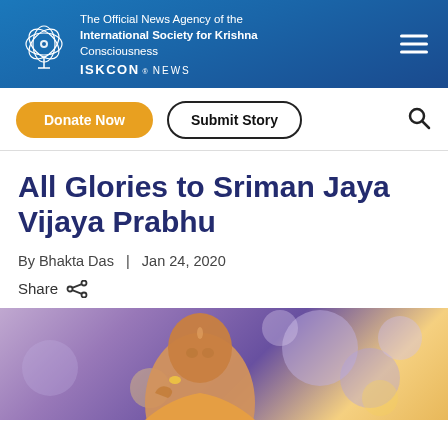ISKCON News — The Official News Agency of the International Society for Krishna Consciousness
Donate Now
Submit Story
All Glories to Sriman Jaya Vijaya Prabhu
By Bhakta Das  |  Jan 24, 2020
Share
[Figure (photo): A bald monk in robes, photographed against a purple/bokeh background, partially cropped at the bottom of the page]